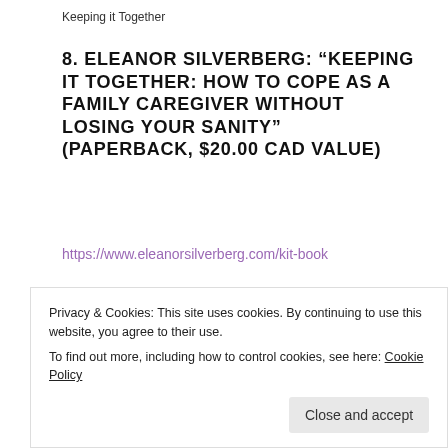Keeping it Together
8. ELEANOR SILVERBERG: “KEEPING IT TOGETHER: HOW TO COPE AS A FAMILY CAREGIVER WITHOUT LOSING YOUR SANITY” (PAPERBACK, $20.00 CAD VALUE)
https://www.eleanorsilverberg.com/kit-book
[Figure (illustration): Decorative horizontal divider with arrow/leaf shapes pointing to a central dot]
[Figure (photo): Book cover showing text 'I COULD' on green/yellow background with partial image below]
Privacy & Cookies: This site uses cookies. By continuing to use this website, you agree to their use.
To find out more, including how to control cookies, see here: Cookie Policy
Close and accept